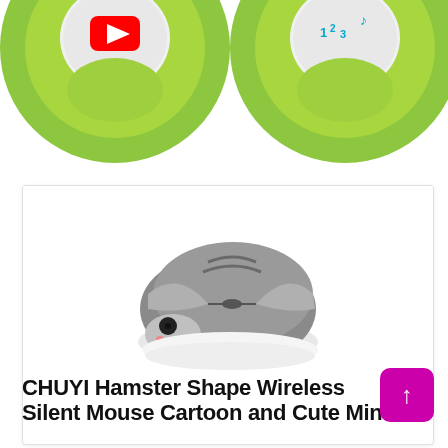[Figure (photo): Two green circular computer mice with white tops, showing YouTube and number/music icons on buttons, partially visible at the top of the page.]
[Figure (photo): CHUYI Hamster-shaped wireless computer mouse in gray and white, shown on a white background inside a product card.]
CHUYI Hamster Shape Wireless Silent Mouse Cartoon and Cute Mini